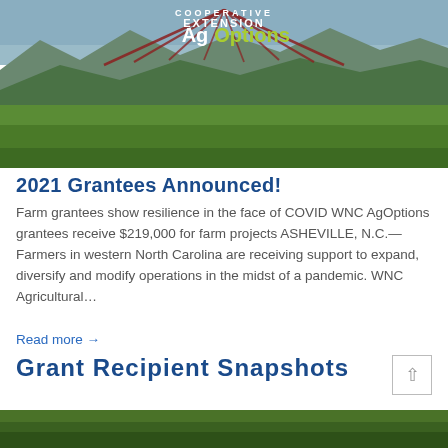[Figure (photo): WNC Cooperative Extension AgOptions banner with logo over green mountain farmland landscape]
2021 Grantees Announced!
Farm grantees show resilience in the face of COVID WNC AgOptions grantees receive $219,000 for farm projects ASHEVILLE, N.C.—Farmers in western North Carolina are receiving support to expand, diversify and modify operations in the midst of a pandemic. WNC Agricultural…
Read more →
Grant Recipient Snapshots
[Figure (photo): Bottom portion of outdoor farm/nature photo]